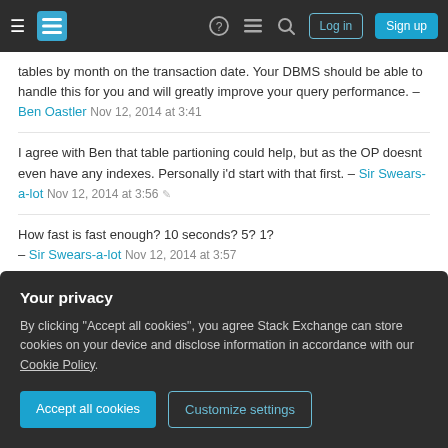Stack Exchange navigation bar with hamburger menu, logo, help, chat, search icons, Log in and Sign up buttons
tables by month on the transaction date. Your DBMS should be able to handle this for you and will greatly improve your query performance. – Ben Oastler Nov 12, 2014 at 3:41
I agree with Ben that table partioning could help, but as the OP doesnt even have any indexes. Personally i'd start with that first. – Sir Swears-a-lot Nov 12, 2014 at 3:56
How fast is fast enough? 10 seconds? 5? 1? – Sir Swears-a-lot Nov 12, 2014 at 3:57
SPLUNK's (www.splunk.com) pretty good at reading
Your privacy
By clicking "Accept all cookies", you agree Stack Exchange can store cookies on your device and disclose information in accordance with our Cookie Policy.
Accept all cookies   Customize settings